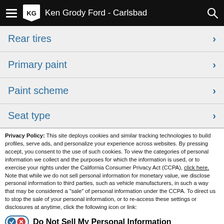Ken Grody Ford - Carlsbad
Rear tires
Primary paint
Paint scheme
Seat type
Privacy Policy: This site deploys cookies and similar tracking technologies to build profiles, serve ads, and personalize your experience across websites. By pressing accept, you consent to the use of such cookies. To view the categories of personal information we collect and the purposes for which the information is used, or to exercise your rights under the California Consumer Privacy Act (CCPA), click here. Note that while we do not sell personal information for monetary value, we disclose personal information to third parties, such as vehicle manufacturers, in such a way that may be considered a "sale" of personal information under the CCPA. To direct us to stop the sale of your personal information, or to re-access these settings or disclosures at anytime, click the following icon or link:
Do Not Sell My Personal Information
Language: English
Powered by ComplyAuto
Accept and Continue → | California Privacy Disclosures | ×